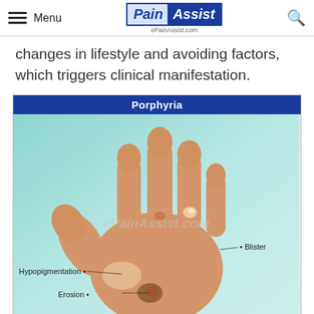Menu | PainAssist | ePainAssist.com
changes in lifestyle and avoiding factors, which triggers clinical manifestation.
[Figure (photo): Medical illustration of a hand showing symptoms of Porphyria, with labels indicating Hypopigmentation, Erosion, and Blister on the skin. Title bar reads 'Porphyria'. Watermark: ePainAssist.com]